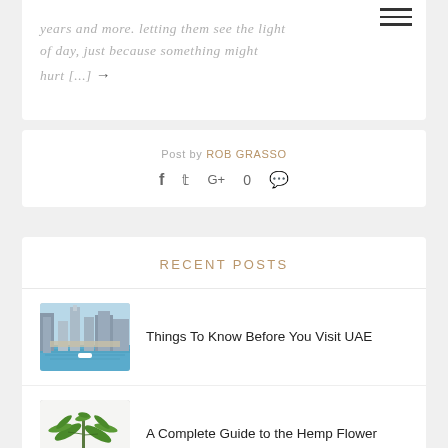years and more. Letting them see the light of day, just because something might hurt [...] →
Post by ROB GRASSO
f  Twitter  G+  0 comment
RECENT POSTS
Things To Know Before You Visit UAE
[Figure (photo): Aerial photo of Dubai Marina with skyscrapers and waterway]
A Complete Guide to the Hemp Flower
[Figure (photo): Hemp plant with green leaves on white background]